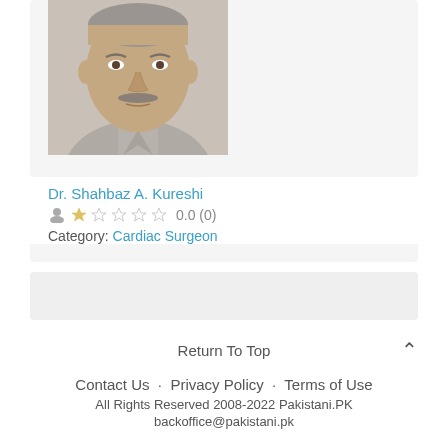[Figure (photo): Portrait photo of Dr. Shahbaz A. Kureshi, a middle-aged man with a mustache wearing a light grey shirt]
Dr. Shahbaz A. Kureshi
0.0 (0)
Category: Cardiac Surgeon
Return To Top
Contact Us · Privacy Policy · Terms of Use
All Rights Reserved 2008-2022 Pakistani.PK
backoffice@pakistani.pk